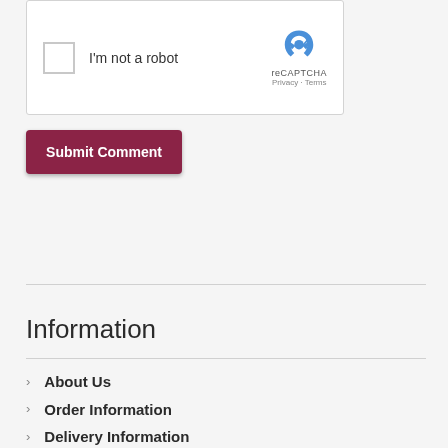[Figure (screenshot): reCAPTCHA widget with checkbox labeled 'I'm not a robot' and reCAPTCHA logo with Privacy and Terms links]
Submit Comment
Information
About Us
Order Information
Delivery Information
Returns Policy
Privacy Policy
Terms and Conditions
Contact Us
Careers